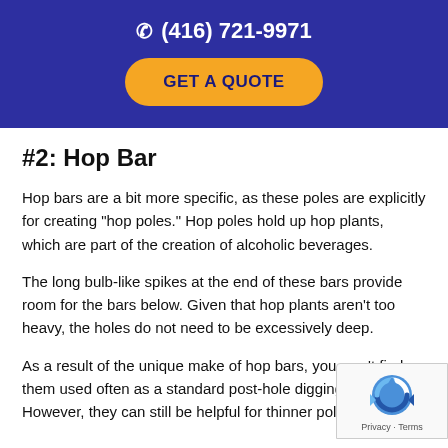(416) 721-9971
GET A QUOTE
#2: Hop Bar
Hop bars are a bit more specific, as these poles are explicitly for creating "hop poles." Hop poles hold up hop plants, which are part of the creation of alcoholic beverages.
The long bulb-like spikes at the end of these bars provide room for the bars below. Given that hop plants aren't too heavy, the holes do not need to be excessively deep.
As a result of the unique make of hop bars, you won't find them used often as a standard post-hole digging bar. However, they can still be helpful for thinner poles.
[Figure (logo): reCAPTCHA badge with logo and Privacy/Terms links]